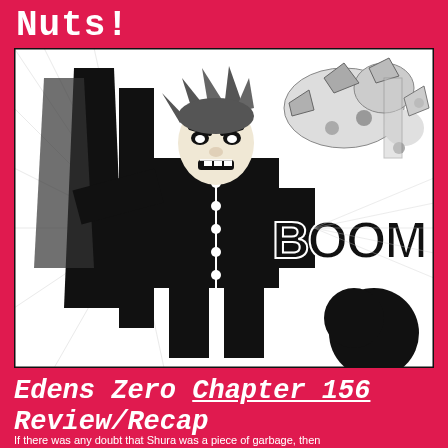Nuts!
[Figure (illustration): Black and white manga panel showing a large muscular character in a dark military-style coat with buttons, angry expression, spiky hair, with 'BOOM' sound effect text and speed lines/explosion debris around him]
Edens Zero Chapter 156 Review/Recap
If there was any doubt that Shura was a piece of garbage, then